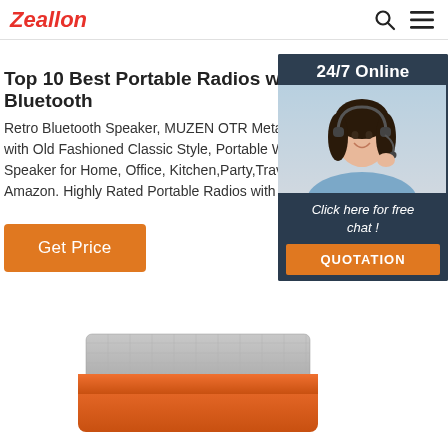Zeallon
Top 10 Best Portable Radios with Bluetooth
Retro Bluetooth Speaker, MUZEN OTR Metal Vintage with Old Fashioned Classic Style, Portable Wireless Speaker for Home, Office, Kitchen,Party,Travel,Out Amazon. Highly Rated Portable Radios with Bluetooth
Get Price
[Figure (photo): Side widget with customer service representative, '24/7 Online' header, 'Click here for free chat!' text and QUOTATION button]
[Figure (photo): Product image of an orange and gray portable Bluetooth speaker/radio at bottom of page]